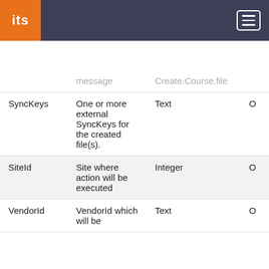its [navigation menu]
|  | message | Create.Course.file |  |
| --- | --- | --- | --- |
| SyncKeys | One or more external SyncKeys for the created file(s). | Text | O |
| SiteId | Site where action will be executed | Integer | O |
| VendorId | VendorId which will be... | Text | O |